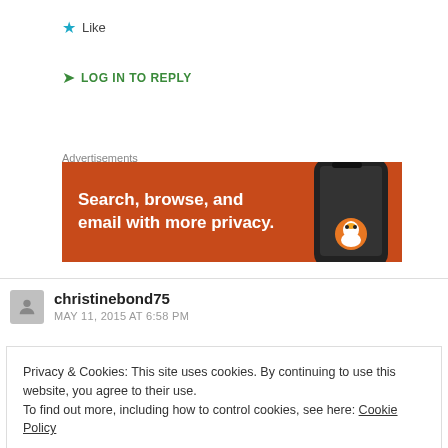★ Like
➤ LOG IN TO REPLY
Advertisements
[Figure (screenshot): DuckDuckGo advertisement banner with orange background showing 'Search, browse, and email with more privacy.' text with a phone image on the right]
christinebond75
MAY 11, 2015 AT 6:58 PM
Privacy & Cookies: This site uses cookies. By continuing to use this website, you agree to their use.
To find out more, including how to control cookies, see here: Cookie Policy
Close and accept
news are and have been woven in to literature context